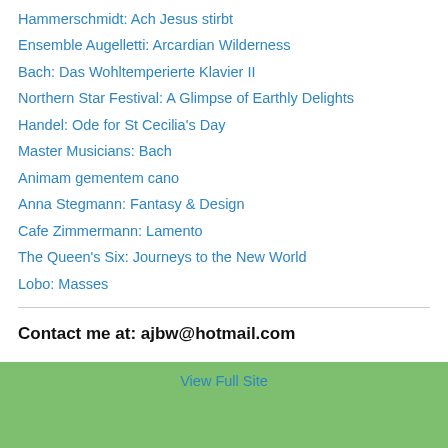Hammerschmidt: Ach Jesus stirbt
Ensemble Augelletti: Arcardian Wilderness
Bach: Das Wohltemperierte Klavier II
Northern Star Festival: A Glimpse of Earthly Delights
Handel: Ode for St Cecilia's Day
Master Musicians: Bach
Animam gementem cano
Anna Stegmann: Fantasy & Design
Cafe Zimmermann: Lamento
The Queen's Six: Journeys to the New World
Lobo: Masses
Contact me at: ajbw@hotmail.com
View Full Site